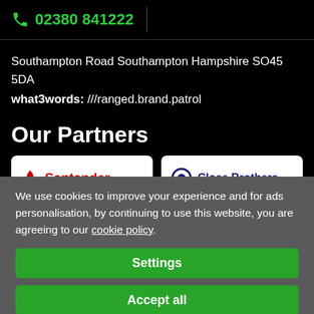02380 841222
Southampton Road Southampton Hampshire SO45 5DA
what3words: ///ranged.brand.patrol
Our Partners
[Figure (logo): Santander partner logo on white card]
[Figure (logo): Close Brothers partner logo on white card]
We use cookies to improve your experience and for ads personalisation, by continuing to use this website, you are agreeing to our cookie policy.
Settings
Accept all